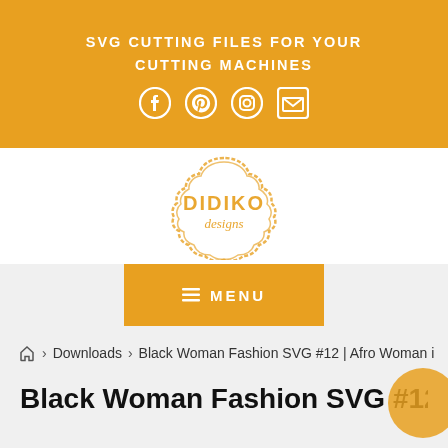SVG CUTTING FILES FOR YOUR CUTTING MACHINES
[Figure (logo): Didiko Designs logo — cloud-shaped orange stamp with 'DIDIKO designs' text inside]
≡ MENU
🏠 > Downloads > Black Woman Fashion SVG #12 | Afro Woman i
Black Woman Fashion SVG #12 |